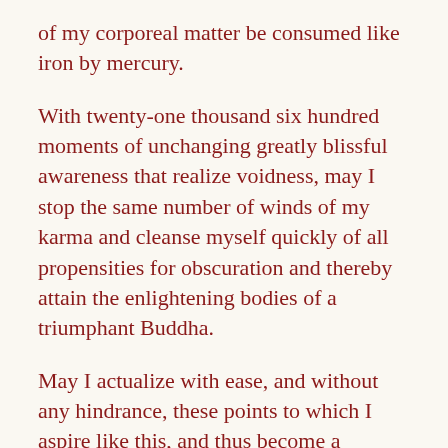of my corporeal matter be consumed like iron by mercury.
With twenty-one thousand six hundred moments of unchanging greatly blissful awareness that realize voidness, may I stop the same number of winds of my karma and cleanse myself quickly of all propensities for obscuration and thereby attain the enlightening bodies of a triumphant Buddha.
May I actualize with ease, and without any hindrance, these points to which I aspire like this, and thus become a superior ship-captain for freeing all beings, through this consummate path, to the Buddhas’ magnificent isle of jewels.
In short, by however much I have built up a network of lustrous positive force by steps such as these, may I